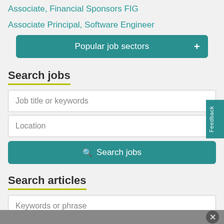Associate, Financial Sponsors FIG
Associate Principal, Software Engineer
Popular job sectors
Search jobs
Job title or keywords
Location
Search jobs
Search articles
Keywords or phrase